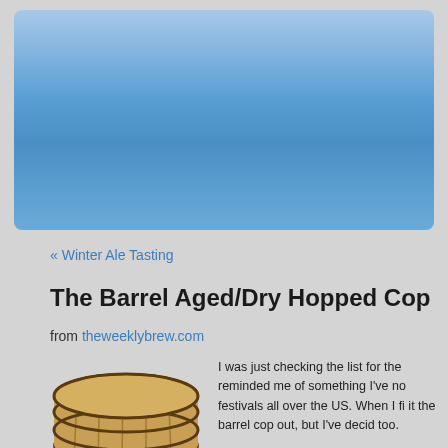[Figure (illustration): Blue gradient banner header area]
« Winter Ale Tasting
The Barrel Aged/Dry Hopped Cop
from theweeklybrew.com
[Figure (illustration): Illustration of a wooden barrel lying on its side]
I was just checking the list for the reminded me of something I've no festivals all over the US. When I fi it the barrel cop out, but I've decid too.